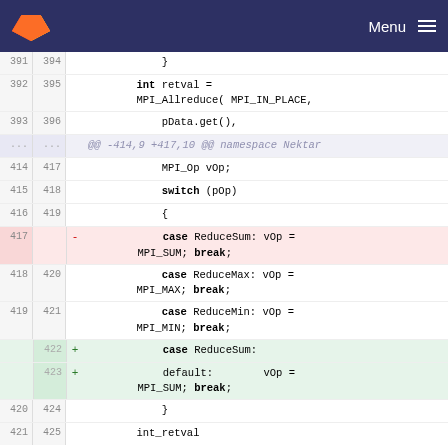GitLab — Menu
[Figure (screenshot): Code diff view showing changes to MPI reduce operation handling in C++ source. Line numbers shown on left (old/new). Removed line (417) shows 'case ReduceSum: vOp = MPI_SUM; break;'. Added lines (422-423) show 'case ReduceSum:' and 'default: vOp = MPI_SUM; break;'. Context lines show MPI_Op, switch, case ReduceMax, case ReduceMin code.]